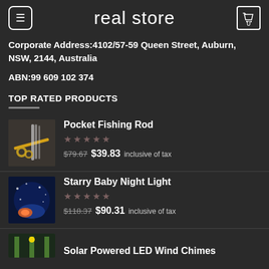real store
Corporate Address:4102/57-59 Queen Street, Auburn, NSW, 2144, Australia
ABN:99 609 102 374
TOP RATED PRODUCTS
Pocket Fishing Rod — $79.67 $39.83 inclusive of tax
Starry Baby Night Light — $118.37 $90.31 inclusive of tax
Solar Powered LED Wind Chimes